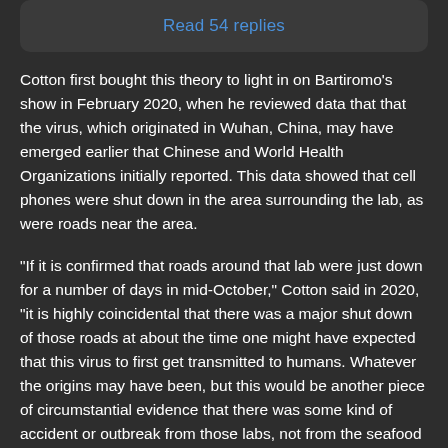Read 54 replies
Cotton first bought this theory to light in on Bartiromo's show in February 2020, when he reviewed data that that the virus, which originated in Wuhan, China, may have emerged earlier that Chinese and World Health Organizations initially reported. This data showed that cell phones were shut down in the area surrounding the lab, as were roads near the area.
“If it is confirmed that roads around that lab were just down for a number of days in mid-October,” Cotton said in 2020, “it is highly coincidental that there was a major shut down of those roads at about the time one might have expected that this virus to first get transmitted to humans. Whatever the origins may have been, but this would be another piece of circumstantial evidence that there was some kind of accident or outbreak from those labs, not from the seafood market, or anyplace else. That’s why it’s so important that we get to the